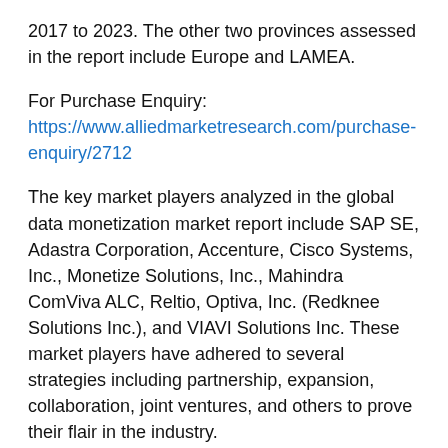2017 to 2023. The other two provinces assessed in the report include Europe and LAMEA.
For Purchase Enquiry: https://www.alliedmarketresearch.com/purchase-enquiry/2712
The key market players analyzed in the global data monetization market report include SAP SE, Adastra Corporation, Accenture, Cisco Systems, Inc., Monetize Solutions, Inc., Mahindra ComViva ALC, Reltio, Optiva, Inc. (Redknee Solutions Inc.), and VIAVI Solutions Inc. These market players have adhered to several strategies including partnership, expansion, collaboration, joint ventures, and others to prove their flair in the industry.